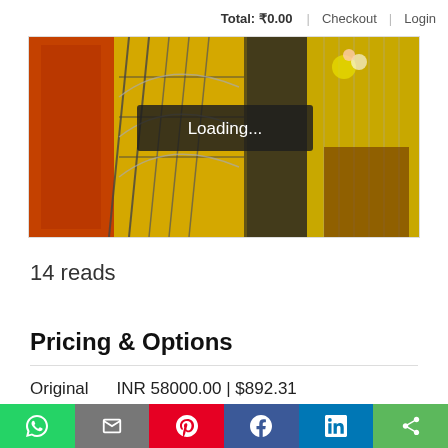Total: ₹0.00 | Checkout | Login
[Figure (photo): A painting with yellow background, iron grilles, orange/red fabric textures, and floral decorations. A 'Loading...' overlay appears in the center.]
14 reads
Pricing & Options
| Original | INR 58000.00 | $892.31 |
| Print | N/A |
Product variations